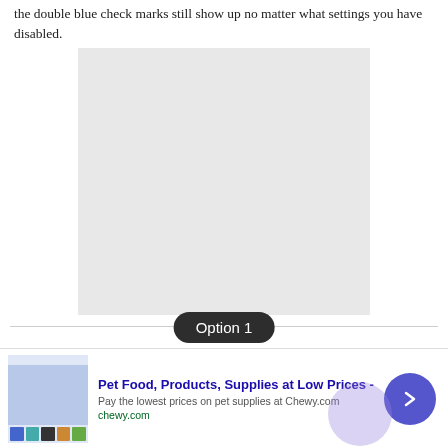the double blue check marks still show up no matter what settings you have disabled.
[Figure (other): A large light gray placeholder image/screenshot block]
Option 1
Hide Read Receipts on iOS
[Figure (other): Advertisement banner: Pet Food, Products, Supplies at Low Prices - chewy.com]